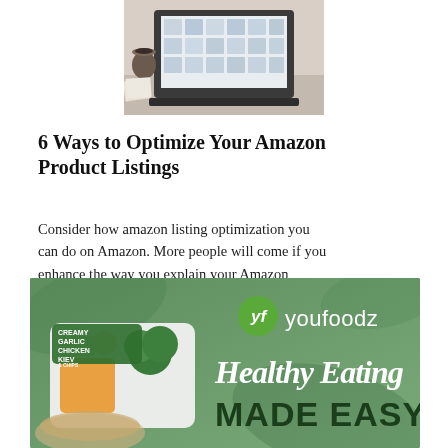[Figure (photo): Photo of a laptop on a desk showing an e-commerce website on screen, with a coffee cup and papers nearby]
6 Ways to Optimize Your Amazon Product Listings
Consider how amazon listing optimization you can do on Amazon. More people will come if you enhance the way you explain your Amazon merchandise. When you shop on Amazon.com, you'll receive...
[Figure (advertisement): Youfoodz advertisement banner with green background showing meal prep containers with food, logo with 'yf youfoodz', text 'Healthy Eating MADE EASY', and product label reading 'Creamy Garlic Chicken Kiev & Chips']